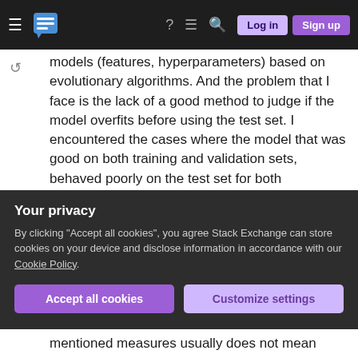Stack Exchange navigation bar with hamburger menu, logo, help, chat, search icons, Log in and Sign up buttons
models (features, hyperparameters) based on evolutionary algorithms. And the problem that I face is the lack of a good method to judge if the model overfits before using the test set. I encountered the cases where the model that was good on both training and validation sets, behaved poorly on the test set for both randomized and not randomized training and validation splits. I used k-fold cross-validation with additionally estimating the standard deviation of all folds results (the smaller deviation means better model), but, still, it doesn't work as
Your privacy
By clicking "Accept all cookies", you agree Stack Exchange can store cookies on your device and disclose information in accordance with our Cookie Policy.
mentioned measures usually does not mean